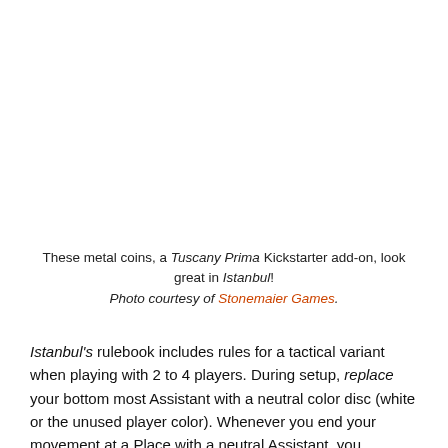These metal coins, a Tuscany Prima Kickstarter add-on, look great in Istanbul!
Photo courtesy of Stonemaier Games.
Istanbul's rulebook includes rules for a tactical variant when playing with 2 to 4 players. During setup, replace your bottom most Assistant with a neutral color disc (white or the unused player color). Whenever you end your movement at a Place with a neutral Assistant, you